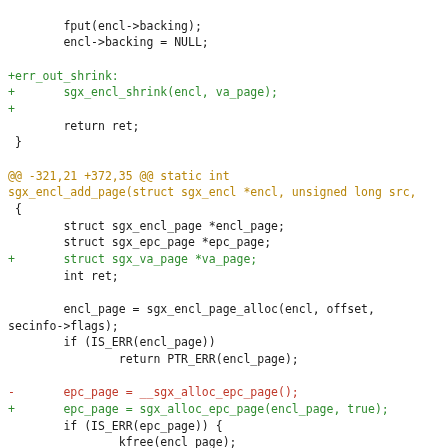[Figure (other): Code diff snippet showing changes to sgx_encl_add_page function in C, with added lines in green, removed lines in red, context lines in dark, and diff headers in gold/yellow.]